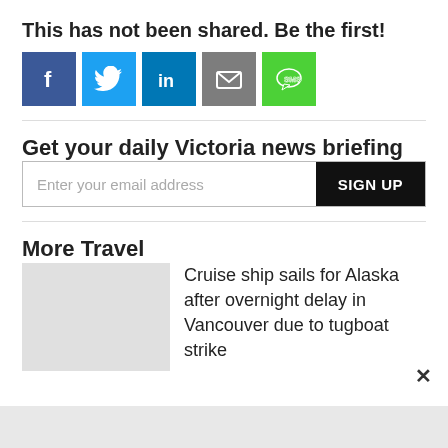This has not been shared. Be the first!
[Figure (illustration): Social sharing icons: Facebook, Twitter, LinkedIn, Email, SMS]
Get your daily Victoria news briefing
Enter your email address  SIGN UP
More Travel
Cruise ship sails for Alaska after overnight delay in Vancouver due to tugboat strike